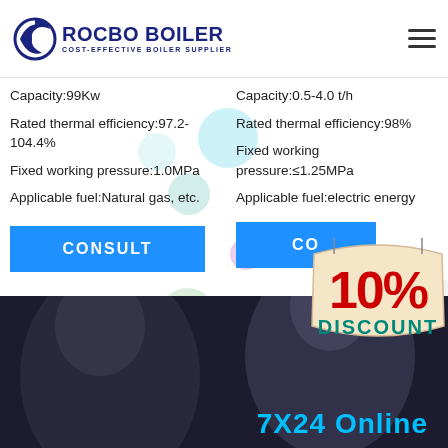[Figure (logo): Rocbo Boiler logo with crescent moon icon and text 'ROCBO BOILER - COST-EFFECTIVE BOILER SUPPLIER']
Capacity:99Kw
Rated thermal efficiency:97.2-104.4%
Fixed working pressure:1.0MPa
Applicable fuel:Natural gas, etc.
Capacity:0.5-4.0 t/h
Rated thermal efficiency:98%
Fixed working pressure:≤1.25MPa
Applicable fuel:electric energy
[Figure (other): Blue CONSULT button (left column)]
[Figure (other): Blue CONSULT button partially visible (right column)]
[Figure (illustration): 10% DISCOUNT badge/sign with red bold text and teal DISCOUNT text on cream background]
[Figure (photo): Photo strip at bottom showing customer service representative with headset, dark background, with '7X24 Online' text in blue]